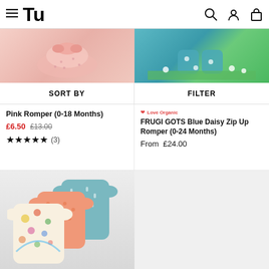Tu
[Figure (photo): Pink romper product photo on light pink background]
[Figure (photo): FRUGI Blue Daisy Zip Up Romper photo on grass with daisies]
SORT BY
FILTER
Pink Romper (0-18 Months)
£6.50 £13.00 ★★★★★ (3)
FRUGI GOTS Blue Daisy Zip Up Romper (0-24 Months) From £24.00
[Figure (photo): 3-pack baby rompers in teal, coral/peach, and floral patterns]